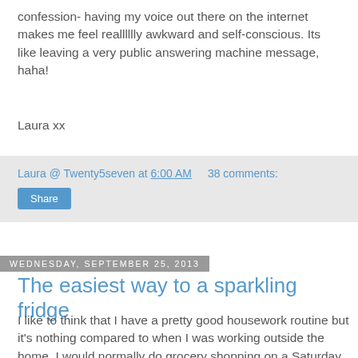confession- having my voice out there on the internet makes me feel realllllly awkward and self-conscious. Its like leaving a very public answering machine message, haha!
Laura xx
Laura @ Twenty5seven at 6:00 AM    38 comments:
Share
Wednesday, September 25, 2013
The easiest way to a sparkling fridge
I like to think that I have a pretty good housework routine but it's nothing compared to when I was working outside the home. I would normally do grocery shopping on a Saturday morning and so I would clean the fridge early on a Saturday morning (or even on a Friday night if I was feeling particularly saintly) so that it was the emptiest it would be all week and so that all the fresh food would go into a sparkly clean fridge. Needless to say, I had better things to do than spend all